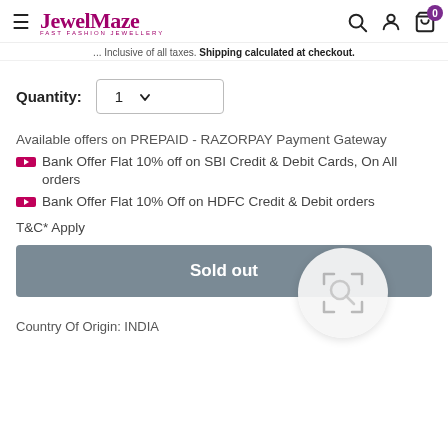JewelMaze — Fast Fashion Jewellery
... Inclusive of all taxes. Shipping calculated at checkout.
Quantity: 1
Available offers on PREPAID - RAZORPAY Payment Gateway
Bank Offer Flat 10% off on SBI Credit & Debit Cards, On All orders
Bank Offer Flat 10% Off on HDFC Credit & Debit orders
T&C* Apply
Sold out
Country Of Origin: INDIA